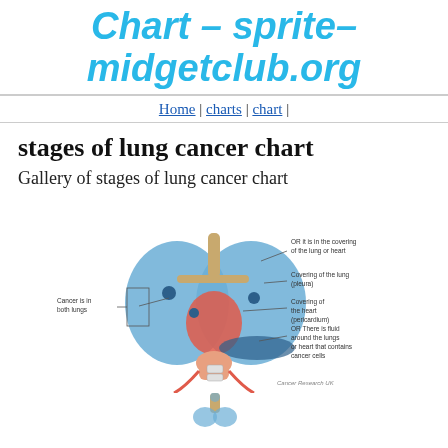Chart – sprite– midgetclub.org
Home | charts | chart |
stages of lung cancer chart
Gallery of stages of lung cancer chart
[Figure (illustration): Medical illustration of lung cancer stages showing both lungs with labeled annotations: 'Cancer is in both lungs', 'OR it is in the covering of the lung or heart', 'Covering of the lung (pleura)', 'Covering of the heart (pericardium)', 'OR There is fluid around the lungs or heart that contains cancer cells'. Source: Cancer Research UK.]
[Figure (illustration): Partial view of another lung cancer stage illustration (bottom of page, cropped).]